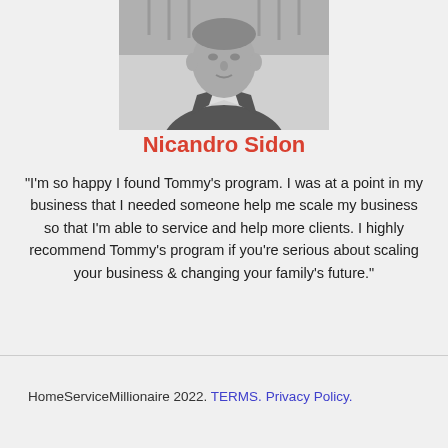[Figure (photo): Black and white portrait photo of Nicandro Sidon, a man in a suit jacket, outdoors]
Nicandro Sidon
"I'm so happy I found Tommy's program. I was at a point in my business that I needed someone help me scale my business so that I'm able to service and help more clients. I highly recommend Tommy's program if you're serious about scaling your business & changing your family's future."
HomeServiceMillionaire 2022. TERMS. Privacy Policy.